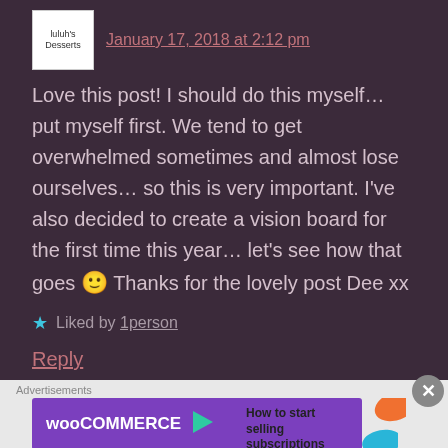January 17, 2018 at 2:12 pm
Love this post! I should do this myself… put myself first. We tend to get overwhelmed sometimes and almost lose ourselves… so this is very important. I've also decided to create a vision board for the first time this year… let's see how that goes 🙂 Thanks for the lovely post Dee xx
Liked by 1person
Reply
[Figure (infographic): WooCommerce advertisement banner: purple background with WooCommerce logo and text 'How to start selling subscriptions online', with decorative orange and teal shapes on the right side.]
Advertisements